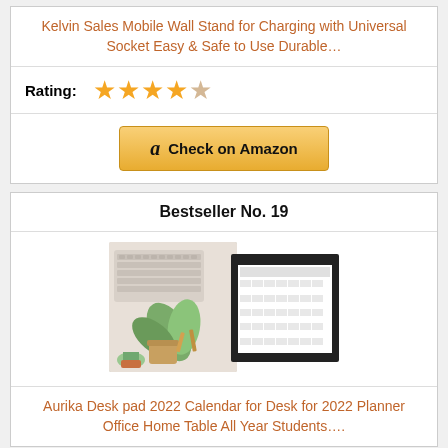Kelvin Sales Mobile Wall Stand for Charging with Universal Socket Easy & Safe to Use Durable…
Rating:
Check on Amazon
Bestseller No. 19
[Figure (photo): Product photo showing a desk calendar pad next to a keyboard and plant on a white surface, alongside a calendar booklet.]
Aurika Desk pad 2022 Calendar for Desk for 2022 Planner Office Home Table All Year Students….